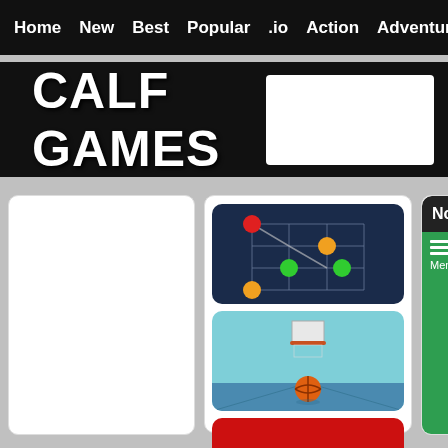Home  New  Best  Popular  .io  Action  Adventure  Arcade  Dr...
CALF GAMES
[Figure (screenshot): Dot-connect puzzle game thumbnail on dark blue background with colored dots on grid]
[Figure (screenshot): Basketball shooting game thumbnail with orange basketball and hoop]
[Figure (screenshot): Red game thumbnail partially visible at bottom]
Nonogram FRY
[Figure (screenshot): Nonogram game content area with green background, menu icon, and chevron arrows]